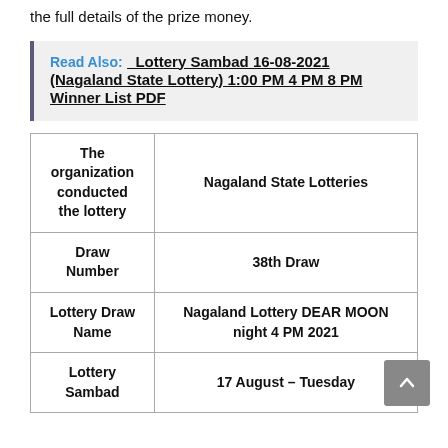the full details of the prize money.
Read Also:  Lottery Sambad 16-08-2021 (Nagaland State Lottery) 1:00 PM 4 PM 8 PM Winner List PDF
|  |  |
| --- | --- |
| The organization conducted the lottery | Nagaland State Lotteries |
| Draw Number | 38th Draw |
| Lottery Draw Name | Nagaland Lottery DEAR MOON night 4 PM 2021 |
| Lottery Sambad | 17 August – Tuesday |